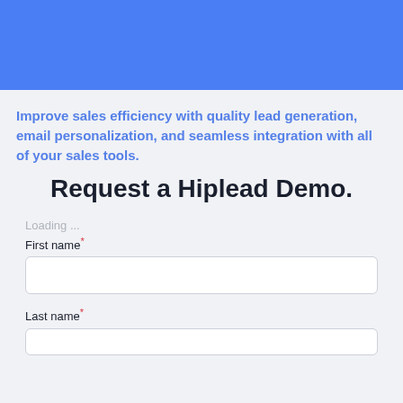[Figure (other): Blue decorative header banner]
Improve sales efficiency with quality lead generation, email personalization, and seamless integration with all of your sales tools.
Request a Hiplead Demo.
Loading ...
First name*
Last name*